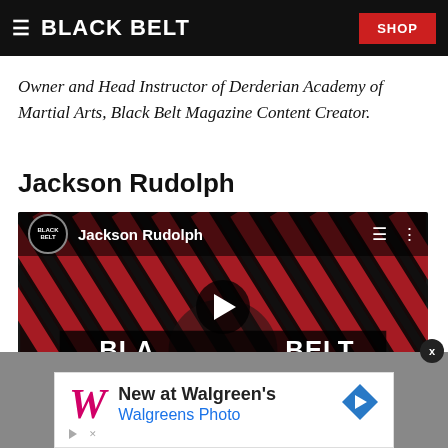BLACK BELT | SHOP
Owner and Head Instructor of Derderian Academy of Martial Arts, Black Belt Magazine Content Creator.
Jackson Rudolph
[Figure (screenshot): YouTube video thumbnail showing Jackson Rudolph with Black Belt logo branding and diagonal red/black stripe background, with a play button overlay]
[Figure (screenshot): Advertisement banner for Walgreens Photo showing the Walgreens cursive W logo, text 'New at Walgreen's Walgreens Photo', and a blue diamond arrow icon]